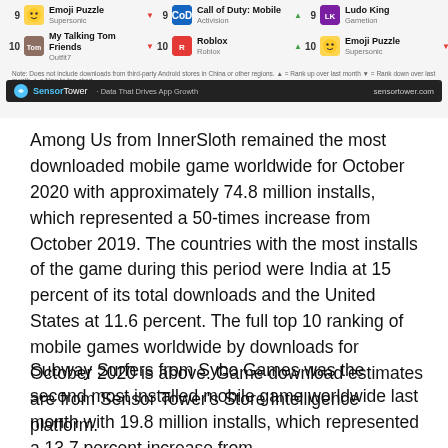[Figure (screenshot): Partial screenshot of a Sensor Tower top 10 mobile games rankings chart showing ranks 9-10 for three columns (likely iOS, Android, Overall), with games including Emoji Puzzle (Supersonic), My Talking Tom Friends (Outfit7), Call of Duty: Mobile (Activision), Roblox (Roblox), Ludo King (Gametion), and Emoji Puzzle (Supersonic). Below the rankings is a note about third-party Android stores and a Sensor Tower branded footer bar.]
Among Us from InnerSloth remained the most downloaded mobile game worldwide for October 2020 with approximately 74.8 million installs, which represented a 50-times increase from October 2019. The countries with the most installs of the game during this period were India at 15 percent of its total downloads and the United States at 11.6 percent. The full top 10 ranking of mobile games worldwide by downloads for October 2020 is above. Game download estimates are from Sensor Tower's Store Intelligence platform.
Subway Surfers from Sybo Games was the second most installed mobile game worldwide last month with 19.8 million installs, which represented a 13.7 percent increase from October 2019. The countries with the most downloads of